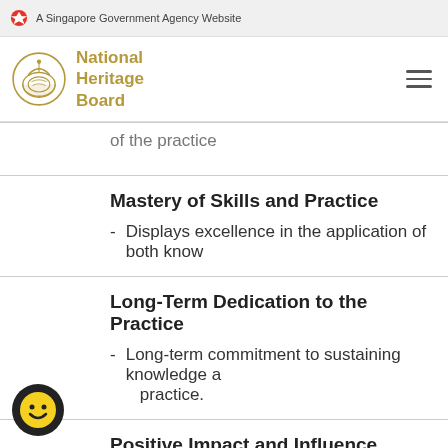A Singapore Government Agency Website
[Figure (logo): National Heritage Board logo with decorative vase icon and golden text]
of the practice
Mastery of Skills and Practice
Displays excellence in the application of both know...
Long-Term Dedication to the Practice
Long-term commitment to sustaining knowledge a... practice.
Positive Impact and Influence
Serves as a positive example by encouraging cultur...
Displays efforts to serve the wider community throu...